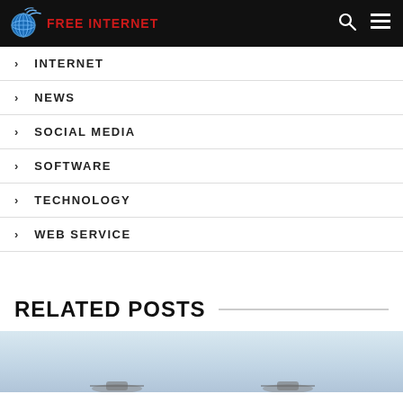FREE INTERNET
INTERNET
NEWS
SOCIAL MEDIA
SOFTWARE
TECHNOLOGY
WEB SERVICE
RELATED POSTS
[Figure (photo): Aerial/sky photograph showing what appears to be a light-colored sky with some silhouetted objects at the bottom]